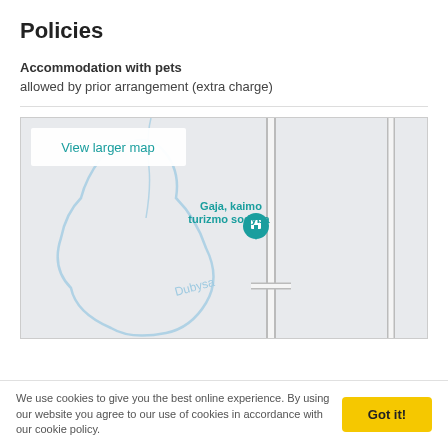Policies
Accommodation with pets
allowed by prior arrangement (extra charge)
[Figure (map): Map showing location of Gaja, kaimo turizmo sodyba near the Dubysa river. Includes a 'View larger map' button in the top-left corner. The map pin icon is teal/turquoise with a building icon.]
We use cookies to give you the best online experience. By using our website you agree to our use of cookies in accordance with our cookie policy.